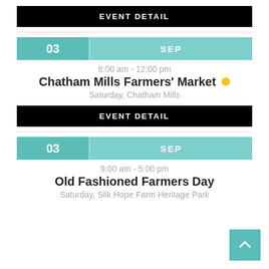EVENT DETAIL
03 SEP
8:00 am - 12:00 pm
Chatham Mills Farmers' Market
Saturday, Chatham Mills
EVENT DETAIL
03 SEP
9:00 am - 5:00 pm
Old Fashioned Farmers Day
Saturday, Silk Hope Farm Heritage Park